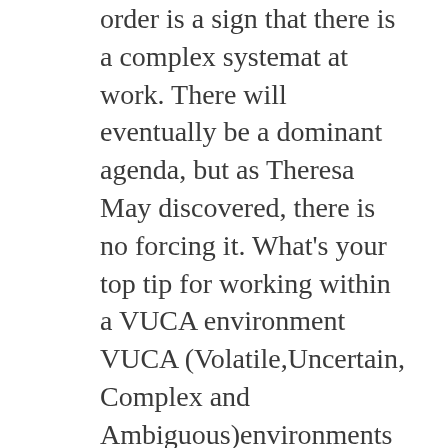order is a sign that there is a complex systemat at work. There will eventually be a dominant agenda, but as Theresa May discovered, there is no forcing it. What's your top tip for working within a VUCA environment VUCA (Volatile,Uncertain, Complex and Ambiguous)environments can be stressful andanxiety provoking, and we know from neuroscience that when we're stressed andanxious we lose the ability to see or think clearly